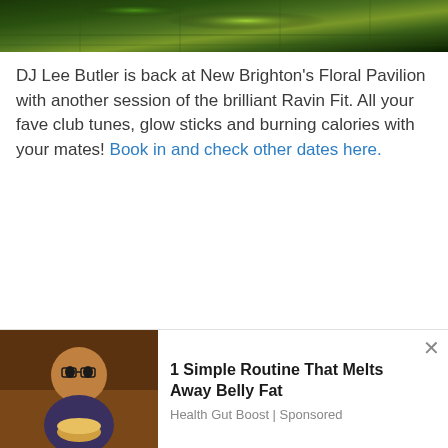[Figure (photo): Top photo bar showing a dark dance floor with green lighting and neon effects]
DJ Lee Butler is back at New Brighton's Floral Pavilion with another session of the brilliant Ravin Fit. All your fave club tunes, glow sticks and burning calories with your mates! Book in and check other dates here.
Wednesday 17th April
The Wirral Bake Off Showstopper Fam...
We use cookies on our website to give you the most relevant experience by remembering your preferences and repeat visits. By clicking "Accept All", you consent to the use of ALL the cookies. However, you may visit "Cookie Settings" to provide a controlled consent.
[Figure (photo): Advertisement photo of a man with glasses holding a bowl of food]
1 Simple Routine That Melts Away Belly Fat
Health Gut Boost | Sponsored